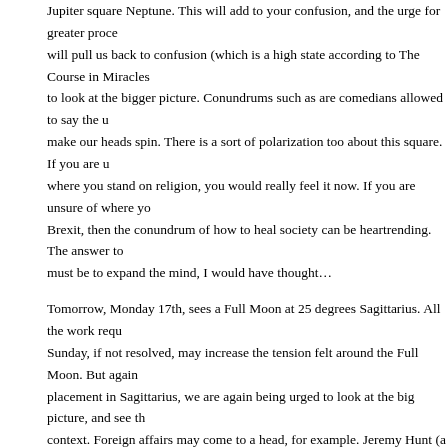Jupiter square Neptune.  This will add to your confusion, and the urge for greater proce will pull us back to confusion (which is a high state according to The Course in Miracles to look at the bigger picture.  Conundrums such as are comedians allowed to say the u make our heads spin.  There is a sort of polarization too about this square.  If you are u where you stand on religion, you would really feel it now.  If you are unsure of where yo Brexit, then the conundrum of how to heal society can be heartrending.  The answer to must be to expand the mind, I would have thought…
Tomorrow, Monday 17th, sees a Full Moon at 25 degrees Sagittarius.  All the work requ Sunday, if not resolved, may increase the tension felt around the Full Moon.  But again placement in Sagittarius, we are again being urged to look at the big picture, and see th context.  Foreign affairs may come to a head, for example.  Jeremy Hunt (a Scorpio) cu the complexity of being Secretary of State for Foreign and Commonwealth Affairs, runn Tory leadership contest, siding with Donald Trump over the Iranian oil tanker incident, w to protect and free Nazanin Zhagari Ratcliffe from an Iranian jail.  Some or parts of thos interests may clash, and all are risky ventures.
If you are feeling a similar maelstrom in your life, then you may need to start by going w still small spiritual centre, find peace, then make your responses from that place.
Tuesday (18th) brings more balance, with Saturn sextile Neptune, also a major aspect. represents materiality and practicality, and here sits happily with Neptune, the planet of